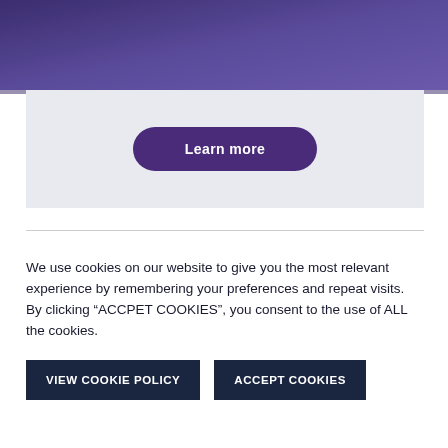[Figure (logo): 10EIGHTY logo — stylized oval with '10' in a circle and 'EIGHTY' text, white on purple background]
The Career Insights Podcast
[Figure (other): Learn more button — dark purple rounded pill button]
We use cookies on our website to give you the most relevant experience by remembering your preferences and repeat visits. By clicking “ACCPET COOKIES”, you consent to the use of ALL the cookies.
VIEW COOKIE POLICY
ACCEPT COOKIES